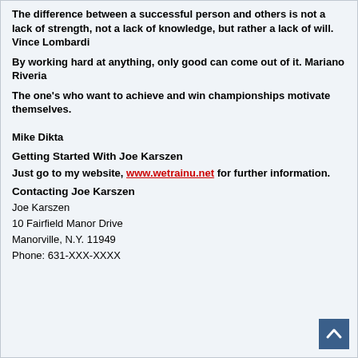The difference between a successful person and others is not a lack of strength, not a lack of knowledge, but rather a lack of will.   Vince Lombardi
By working hard at anything, only good can come out of it. Mariano Riveria
The one's who want to achieve and win championships motivate themselves.

Mike Dikta
Getting Started With Joe Karszen
Just go to my website, www.wetrainu.net for further information.
Contacting Joe Karszen
Joe Karszen
10 Fairfield Manor Drive
Manorville, N.Y. 11949
Phone: 631-XXX-XXXX